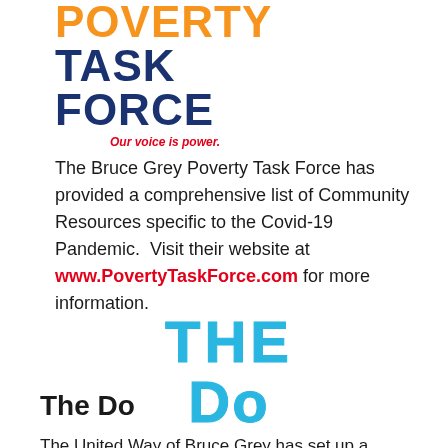[Figure (logo): Poverty Task Force logo: 'POVERTY' in orange bold uppercase, 'TASK FORCE' in dark navy bold uppercase, tagline 'Our voice is power.' in red italic below]
The Bruce Grey Poverty Task Force has provided a comprehensive list of Community Resources specific to the Covid-19 Pandemic.  Visit their website at www.PovertyTaskForce.com for more information.
[Figure (logo): The Do logo in sketchy/handwritten blue lettering: 'THE' on top line, 'Do' on bottom line]
The Do
The United Way of Bruce Grey has set up a Volunteer